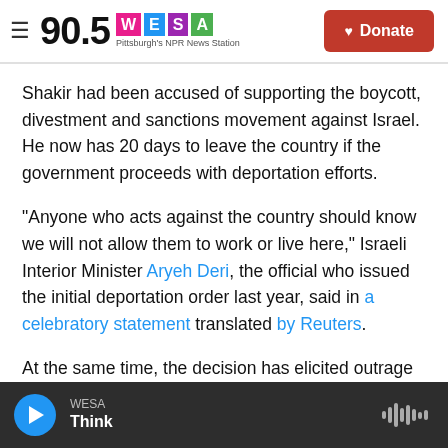90.5 WESA Pittsburgh's NPR News Station — Donate
Shakir had been accused of supporting the boycott, divestment and sanctions movement against Israel. He now has 20 days to leave the country if the government proceeds with deportation efforts.
"Anyone who acts against the country should know we will not allow them to work or live here," Israeli Interior Minister Aryeh Deri, the official who issued the initial deportation order last year, said in a celebratory statement translated by Reuters.
At the same time, the decision has elicited outrage
WESA Think